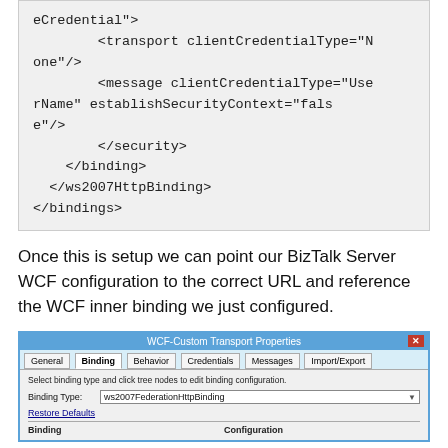eCredential">
        <transport clientCredentialType="None"/>
        <message clientCredentialType="UserName" establishSecurityContext="false"/>
        </security>
    </binding>
  </ws2007HttpBinding>
</bindings>
Once this is setup we can point our BizTalk Server WCF configuration to the correct URL and reference the WCF inner binding we just configured.
[Figure (screenshot): WCF-Custom Transport Properties dialog box showing the Binding tab selected. Binding Type is set to ws2007FederationHttpBinding. Shows tabs: General, Binding, Behavior, Credentials, Messages, Import/Export. Restore Defaults link visible. Binding and Configuration columns shown at bottom.]